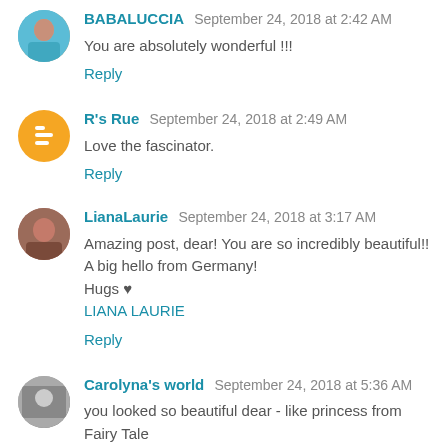BABALUCCIA September 24, 2018 at 2:42 AM
You are absolutely wonderful !!!
Reply
R's Rue September 24, 2018 at 2:49 AM
Love the fascinator.
Reply
LianaLaurie September 24, 2018 at 3:17 AM
Amazing post, dear! You are so incredibly beautiful!! A big hello from Germany! Hugs ♥ LIANA LAURIE
Reply
Carolyna's world September 24, 2018 at 5:36 AM
you looked so beautiful dear - like princess from Fairy Tale